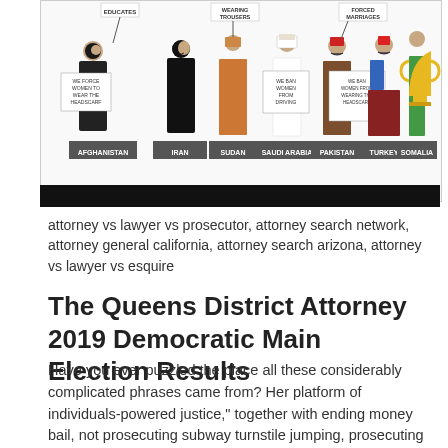[Figure (illustration): Cartoon illustration showing figures representing countries (Afghanistan, Iran, Sudan, Saudi Arabia, Pakistan, Turkey, Somalia) holding signs about women's rights restrictions. A trophy is shown on the right. Website watermark: www.zeefisdan.com]
attorney vs lawyer vs prosecutor, attorney search network, attorney general california, attorney search arizona, attorney vs lawyer vs esquire
The Queens District Attorney 2019 Democratic Main Election Results
Have you ever puzzled the place all these considerably complicated phrases came from? Her platform of individuals-powered justice," together with ending money bail, not prosecuting subway turnstile jumping, prosecuting the Immigration and Customs Enforcement company, closing